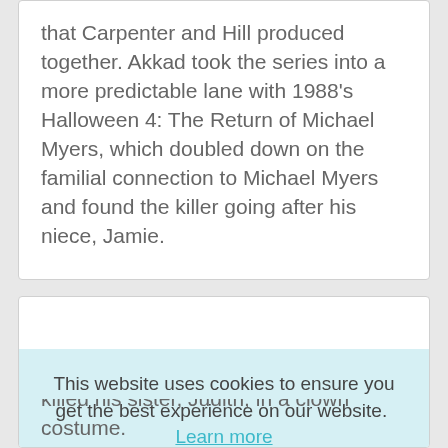that Carpenter and Hill produced together. Akkad took the series into a more predictable lane with 1988's Halloween 4: The Return of Michael Myers, which doubled down on the familial connection to Michael Myers and found the killer going after his niece, Jamie.
This website uses cookies to ensure you get the best experience on our website. Learn more
Got it!
killed his sister, Judith, in a clown costume.